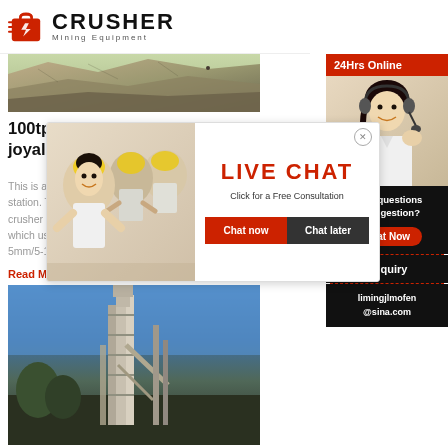[Figure (logo): Crusher Mining Equipment logo with red shopping bag icon and bold CRUSHER text]
[Figure (photo): Granite stone quarry or mining site aerial/landscape photo]
100tph Granite stone Mobile crushing ... - joyalcrusher
This is a complete mobile crushing plant, includ... station. The... crusher PE6... crusher incl... crusher ZYS... which used... 5mm/5-15mm/15-25mm, with a capacity of ab...
Read More
[Figure (photo): Industrial crushing plant with tall tower structure against blue sky]
[Figure (infographic): Live Chat popup overlay with workers photo, LIVE CHAT text, Chat now and Chat later buttons]
[Figure (infographic): Right sidebar with 24Hrs Online label, customer service representative photo, Need questions & suggestion, Chat Now button, Enquiry link, limingjlmofen@sina.com email]